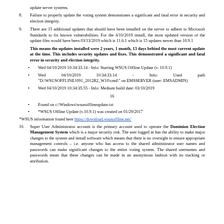[continued] ...update server systems.
8. Failure to properly update the voting system demonstrates a significant and fatal error in security and election integrity.
9. There are 15 additional updates that should have been installed on the server to adhere to Microsoft Standards to fix known vulnerabilities. For the 4/10/2019 install, the most updated version of the update files would have been 03/13/2019 which is 11.6.1 which is 15 updates newer than 10.9.1
This means the updates installed were 2 years, 1 month, 13 days behind the most current update at the time. This includes security updates and fixes. This demonstrated a significant and fatal error in security and election integrity.
Wed 04/10/2019 10:34:33.14 - Info: Starting WSUS Offline Update (v. 10.9.1)
Wed 04/10/2019 10:34:33.14 - Info: Used path "D:\WSUSOFFLINE1091_2012R2_W10\cmd\" on EMSSERVER (user: EMSADMIN)
Wed 04/10/2019 10:34:35.55 - Info: Medium build date: 03/10/2019
16
Found on c:\Windows\wsusofflineupdate.txt
*WSUS Offline Update (v.10.9.1) was created on 01/29/2017
*WSUS information found here https://download.wsusoffline.net/
10. Super User Administrator account is the primary account used to operate the Dominion Election Management System which is a major security risk. The user logged in has the ability to make major changes to the system and install software which means that there is no oversight to ensure appropriate management controls – i.e. anyone who has access to the shared administrator user names and passwords can make significant changes to the entire voting system. The shared usernames and passwords mean that these changes can be made in an anonymous fashion with no tracking or attribution.